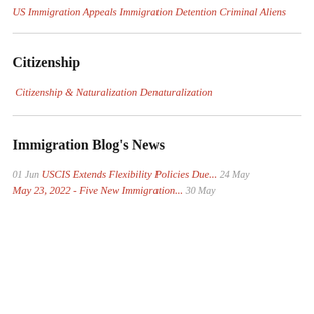US Immigration Appeals
Immigration Detention
Criminal Aliens
Citizenship
Citizenship & Naturalization
Denaturalization
Immigration Blog's News
01 Jun
USCIS Extends Flexibility Policies Due...
24 May
May 23, 2022 - Five New Immigration...
30 May